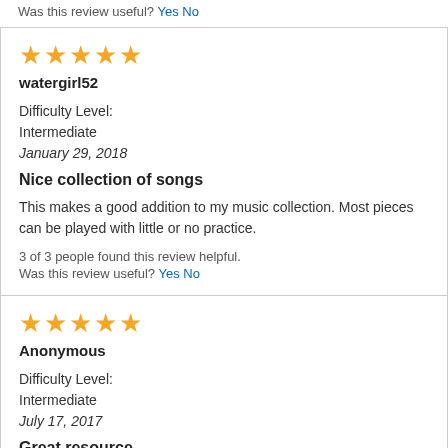Was this review useful? Yes No
★★★★★
watergirl52
Difficulty Level: Intermediate
January 29, 2018
Nice collection of songs
This makes a good addition to my music collection. Most pieces can be played with little or no practice.
3 of 3 people found this review helpful.
Was this review useful? Yes No
★★★★★
Anonymous
Difficulty Level: Intermediate
July 17, 2017
Great resource